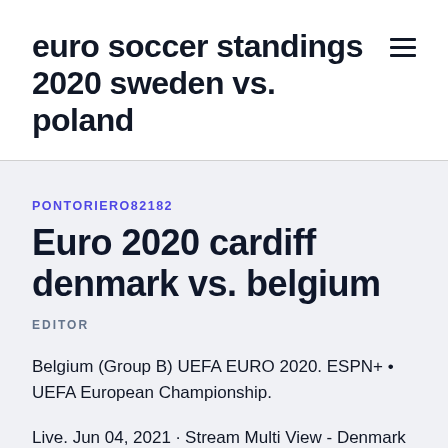euro soccer standings 2020 sweden vs. poland
PONTORIERO82182
Euro 2020 cardiff denmark vs. belgium
EDITOR
Belgium (Group B) UEFA EURO 2020. ESPN+ • UEFA European Championship.
Live. Jun 04, 2021 · Stream Multi View - Denmark vs.